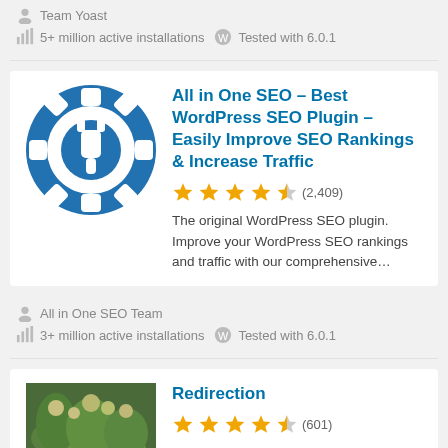Team Yoast
5+ million active installations   Tested with 6.0.1
[Figure (logo): All in One SEO plugin logo: blue circle with white gear/cog and plug icon]
All in One SEO – Best WordPress SEO Plugin – Easily Improve SEO Rankings & Increase Traffic
(2,409) stars rating
The original WordPress SEO plugin. Improve your WordPress SEO rankings and traffic with our comprehensive…
All in One SEO Team
3+ million active installations   Tested with 6.0.1
[Figure (photo): Photo of green plants/flowers for Redirection plugin]
Redirection
(601) stars rating